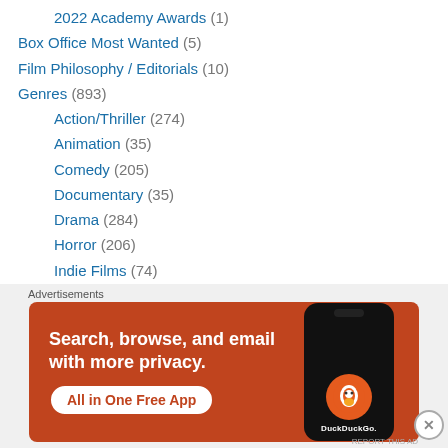2022 Academy Awards (1)
Box Office Most Wanted (5)
Film Philosophy / Editorials (10)
Genres (893)
Action/Thriller (274)
Animation (35)
Comedy (205)
Documentary (35)
Drama (284)
Horror (206)
Indie Films (74)
musical (10)
Romance (37)
Sci-Fi/Fantasy (94)
[Figure (screenshot): DuckDuckGo advertisement banner: orange background with text 'Search, browse, and email with more privacy. All in One Free App' and DuckDuckGo logo on a phone mockup]